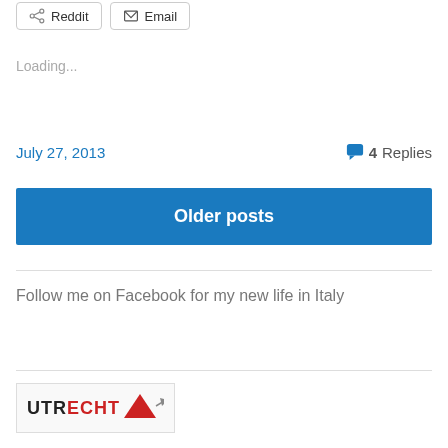[Figure (other): Share buttons: Reddit and Email]
Loading...
July 27, 2013
4 Replies
Older posts
Follow me on Facebook for my new life in Italy
[Figure (logo): Utrecht logo with red triangle and arrow]